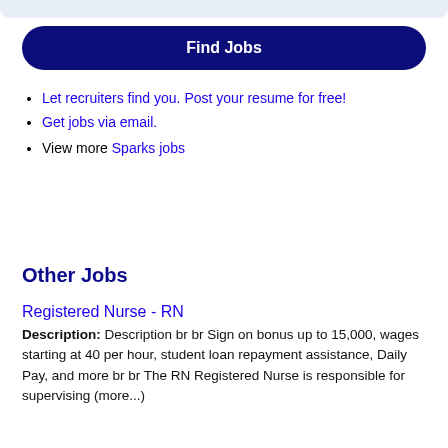Let recruiters find you. Post your resume for free!
Get jobs via email.
View more Sparks jobs
Other Jobs
Registered Nurse - RN
Description: Description br br Sign on bonus up to 15,000, wages starting at 40 per hour, student loan repayment assistance, Daily Pay, and more br br The RN Registered Nurse is responsible for supervising (more...)